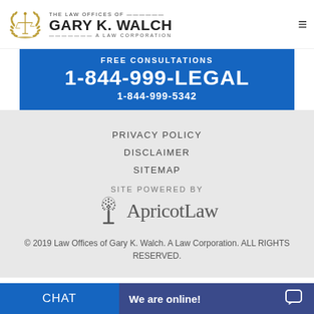[Figure (logo): The Law Offices of Gary K. Walch, A Law Corporation logo with scales of justice emblem]
FREE CONSULTATIONS
1-844-999-LEGAL
1-844-999-5342
PRIVACY POLICY
DISCLAIMER
SITEMAP
SITE POWERED BY
[Figure (logo): ApricotLaw logo with tree icon]
© 2019 Law Offices of Gary K. Walch. A Law Corporation. ALL RIGHTS RESERVED.
CHAT   We are online!